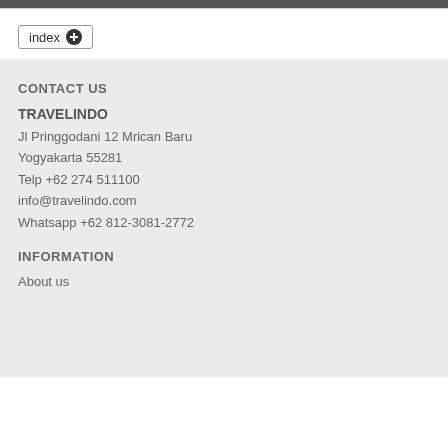index +
CONTACT US
TRAVELINDO
Jl Pringgodani 12 Mrican Baru
Yogyakarta 55281
Telp +62 274 511100
info@travelindo.com
Whatsapp +62 812-3081-2772
INFORMATION
About us